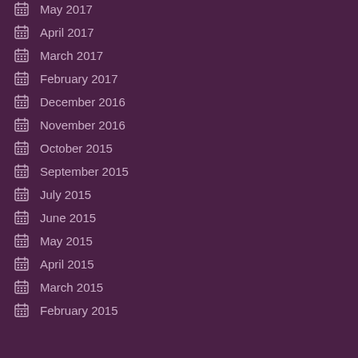May 2017
April 2017
March 2017
February 2017
December 2016
November 2016
October 2015
September 2015
July 2015
June 2015
May 2015
April 2015
March 2015
February 2015